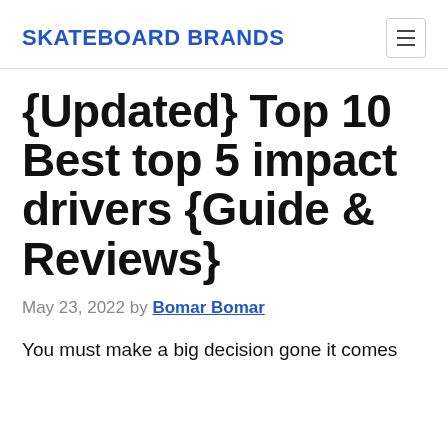SKATEBOARD BRANDS
{Updated} Top 10 Best top 5 impact drivers {Guide & Reviews}
May 23, 2022 by Bomar Bomar
You must make a big decision gone it comes